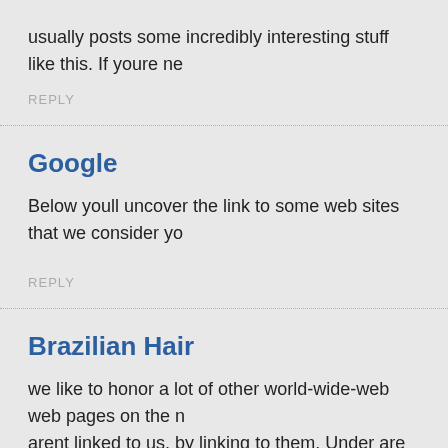usually posts some incredibly interesting stuff like this. If youre ne
REPLY
Google
Below youll uncover the link to some web sites that we consider yo
REPLY
Brazilian Hair
we like to honor a lot of other world-wide-web web pages on the n arent linked to us, by linking to them. Under are some webpages w
REPLY
Milky Way Hair Wholesale